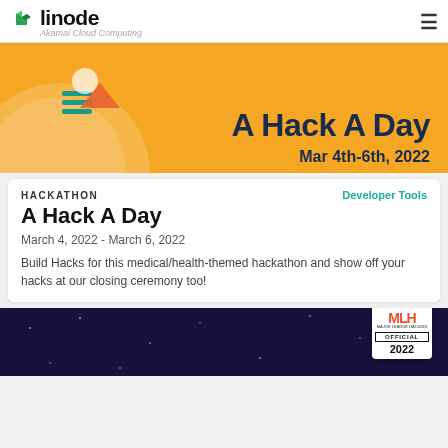linode — Akamai Cloud Computing
[Figure (illustration): Yellow hackathon banner with illustration of a figure and text 'A Hack A Day Mar 4th-6th, 2022']
HACKATHON
Developer Tools
A Hack A Day
March 4, 2022 - March 6, 2022
Build Hacks for this medical/health-themed hackathon and show off your hacks at our closing ceremony too!
[Figure (illustration): Dark purple hackathon banner with MLH Official 2022 badge]